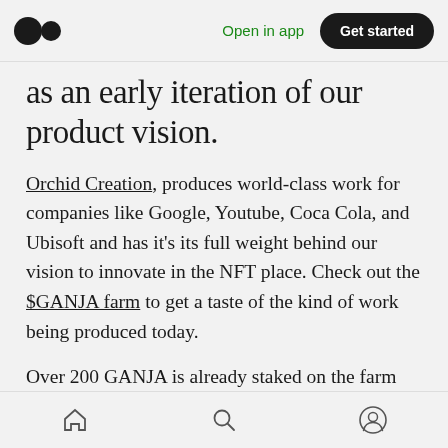Open in app | Get started
as an early iteration of our product vision.
Orchid Creation, produces world-class work for companies like Google, Youtube, Coca Cola, and Ubisoft and has it's its full weight behind our vision to innovate in the NFT place. Check out the $GANJA farm to get a taste of the kind of work being produced today.
Over 200 GANJA is already staked on the farm and the incredibly positive feedback we got from